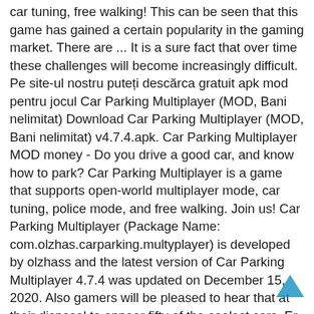car tuning, free walking! This can be seen that this game has gained a certain popularity in the gaming market. There are ... It is a sure fact that over time these challenges will become increasingly difficult. Pe site-ul nostru puteți descărca gratuit apk mod pentru jocul Car Parking Multiplayer (MOD, Bani nelimitat) Download Car Parking Multiplayer (MOD, Bani nelimitat) v4.7.4.apk. Car Parking Multiplayer MOD money - Do you drive a good car, and know how to park? Car Parking Multiplayer is a game that supports open-world multiplayer mode, car tuning, police mode, and free walking. Join us! Car Parking Multiplayer (Package Name: com.olzhas.carparking.multyplayer) is developed by olzhass and the latest version of Car Parking Multiplayer 4.7.4 was updated on December 15, 2020. Also gamers will be pleased to hear that at their disposal to appear fifty of the coolest cars. Er bietet Ihnen eine große Auswahl an Fahrzeugen, mit denen Sie herumfahren und eine detaillierte Stadt voller Bewegung und Geheimnisse